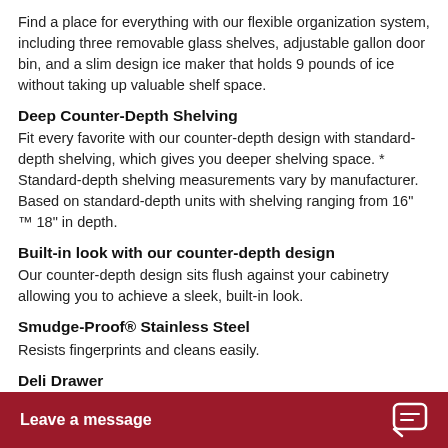Find a place for everything with our flexible organization system, including three removable glass shelves, adjustable gallon door bin, and a slim design ice maker that holds 9 pounds of ice without taking up valuable shelf space.
Deep Counter-Depth Shelving
Fit every favorite with our counter-depth design with standard-depth shelving, which gives you deeper shelving space. * Standard-depth shelving measurements vary by manufacturer. Based on standard-depth units with shelving ranging from 16" ™ 18" in depth.
Built-in look with our counter-depth design
Our counter-depth design sits flush against your cabinetry allowing you to achieve a sleek, built-in look.
Smudge-Proof® Stainless Steel
Resists fingerprints and cleans easily.
Deli Drawer
Keep sandwich meats and cheeses organized and easy to reach in a convenie
Leave a message